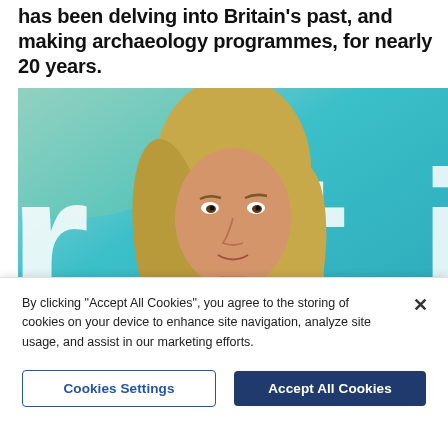has been delving into Britain's past, and making archaeology programmes, for nearly 20 years.
[Figure (photo): A blonde woman photographed in front of a teal/turquoise background with large white letters 'r t i' partially visible. She is wearing a dark top and facing the camera.]
By clicking "Accept All Cookies", you agree to the storing of cookies on your device to enhance site navigation, analyze site usage, and assist in our marketing efforts.
Cookies Settings
Accept All Cookies